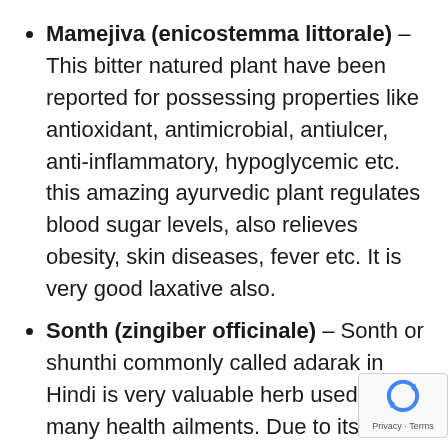Mamejiva (enicostemma littorale) – This bitter natured plant have been reported for possessing properties like antioxidant, antimicrobial, antiulcer, anti-inflammatory, hypoglycemic etc. this amazing ayurvedic plant regulates blood sugar levels, also relieves obesity, skin diseases, fever etc. It is very good laxative also.
Sonth (zingiber officinale) – Sonth or shunthi commonly called adarak in Hindi is very valuable herb used in many health ailments. Due to its hot potency and pungent taste, it helps improving digestive fire and therefore removes toxins from body. Also helps